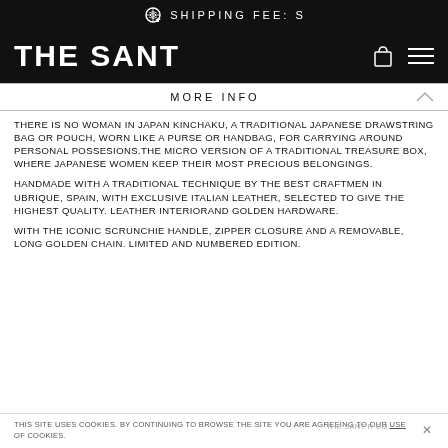SHIPPING FEE: S
THE SANT
MORE INFO
THERE IS NO WOMAN IN JAPAN KINCHAKU, A TRADITIONAL JAPANESE DRAWSTRING BAG OR POUCH, WORN LIKE A PURSE OR HANDBAG, FOR CARRYING AROUND PERSONAL POSSESIONS.THE MICRO VERSION OF A TRADITIONAL TREASURE BOX, WHERE JAPANESE WOMEN KEEP THEIR MOST PRECIOUS BELONGINGS.
HANDMADE WITH A TRADITIONAL TECHNIQUE BY THE BEST CRAFTMEN IN UBRIQUE, SPAIN, WITH EXCLUSIVE ITALIAN LEATHER, SELECTED TO GIVE THE HIGHEST QUALITY. LEATHER INTERIORAND GOLDEN HARDWARE.
WITH THE ICONIC SCRUNCHIE HANDLE, ZIPPER CLOSURE AND A REMOVABLE, LONG GOLDEN CHAIN. LIMITED AND NUMBERED EDITION.
THIS SITE USES COOKIES. BY CONTINUING TO BROWSE THE SITE YOU ARE AGREEING TO OUR USE OF COOKIES.